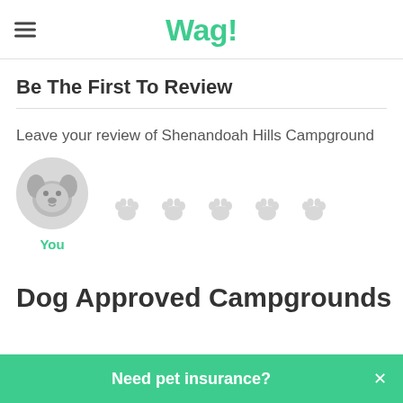Wag!
Be The First To Review
Leave your review of Shenandoah Hills Campground
[Figure (illustration): A circular avatar icon showing a cartoon dog face with grey background, labeled 'You' in green below it, alongside five light grey paw print rating icons]
Dog Approved Campgrounds
Need pet insurance?